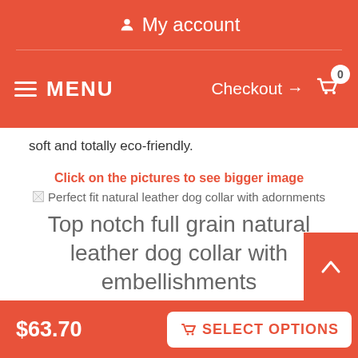My account  ≡ MENU  Checkout → 🛒 0
soft and totally eco-friendly.
Click on the pictures to see bigger image
[Figure (photo): Broken image placeholder with alt text: Perfect fit natural leather dog collar with adornments]
Top notch full grain natural leather dog collar with embellishments
Finally, you can spoil your dog with best ever collars on the market from FDT Artisan! Find your favorite design and make your dog unique with extraordinary sets of decorations!
Click on the pictures to see bigger image
[Figure (photo): Broken image placeholder with alt text: Best quality genuine leather dog collar with studs]
$63.70  SELECT OPTIONS